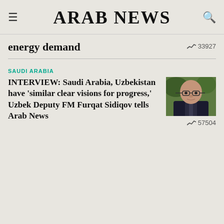ARAB NEWS
energy demand
33927
SAUDI ARABIA
INTERVIEW: Saudi Arabia, Uzbekistan have ‘similar clear visions for progress,’ Uzbek Deputy FM Furqat Sidiqov tells Arab News
[Figure (photo): Photo of Uzbek Deputy FM Furqat Sidiqov, a bald man wearing glasses and a dark suit]
57504